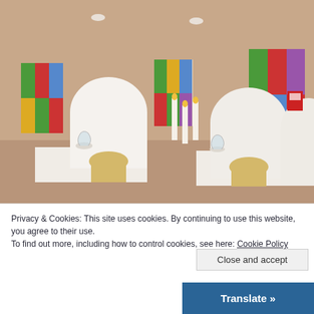[Figure (photo): Interior of a banquet/wedding hall with white chair covers tied with gold sashes, white tablecloths, candles, wine glasses, and colorful stained glass windows along the walls.]
Privacy & Cookies: This site uses cookies. By continuing to use this website, you agree to their use.
To find out more, including how to control cookies, see here: Cookie Policy
Close and accept
Translate »